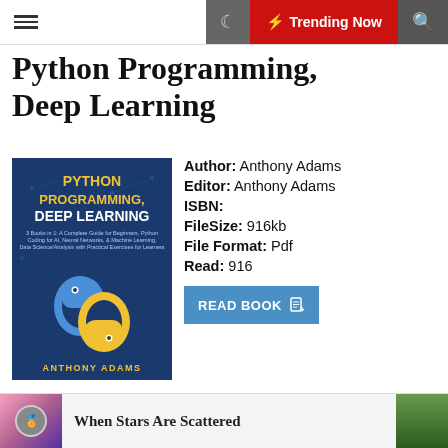≡ ☾ ⚡ Trending Now 🔍
Python Programming, Deep Learning
[Figure (illustration): Book cover for Python Programming, Deep Learning by Anthony Adams. Dark blue background with yellow PYTHON PROGRAMMING, DEEP LEARNING title text, Python snake logo in blue and yellow, and ANTHONY ADAMS at the bottom in yellow letters.]
Author: Anthony Adams
Editor: Anthony Adams
ISBN:
FileSize: 916kb
File Format: Pdf
Read: 916
READ BOOK
Python Programming, Deep Learning by Anthony Adams Summary
[Figure (illustration): Advertisement bar at the bottom showing book 'When Stars Are Scattered' with a pink/purple illustrated cover featuring a medal, the title text in the middle, and a landscape photo on the right.]
When Stars Are Scattered